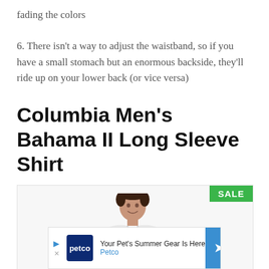fading the colors
6. There isn’t a way to adjust the waistband, so if you have a small stomach but an enormous backside, they’ll ride up on your lower back (or vice versa)
Columbia Men’s Bahama II Long Sleeve Shirt
[Figure (photo): Photo of a man wearing a white Columbia Bahama II long sleeve fishing shirt, with a green SALE badge in the top-right corner of the image box.]
[Figure (other): Advertisement banner for Petco: 'Your Pet’s Summer Gear Is Here' with Petco logo and blue arrow button.]